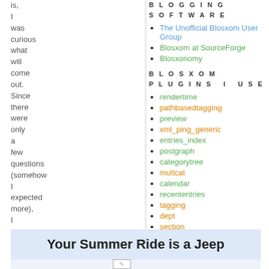is, I was curious what will come out. Since there were only a few questions (somehow I expected more), I was through after a quite short time:
BLOGGING SOFTWARE
The Unofficial Blosxom User Group
Blosxom at SourceForge
Blosxonomy
BLOSXOM PLUGINS I USE
rendertime
pathbasedtagging
preview
xml_ping_generic
entries_index
postgraph
categorytree
multcat
calendar
recententries
tagging
dept
section
find
seemore
autolink
date_to_name
date_rfc822
debtags
Your Summer Ride is a Jeep
[Figure (photo): Small image placeholder in advertisement area]